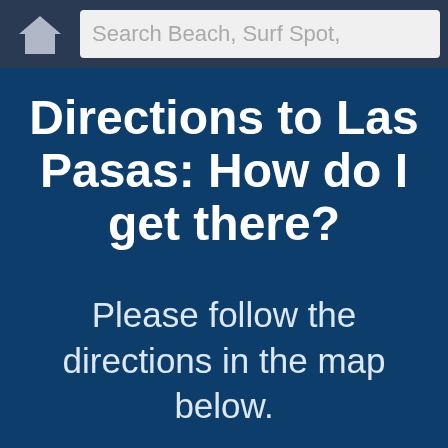Search Beach, Surf Spot,
Directions to Las Pasas: How do I get there?
Please follow the directions in the map below.